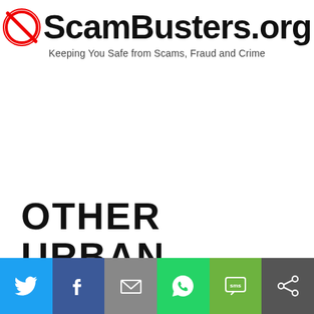ScamBusters.org — Keeping You Safe from Scams, Fraud and Crime
OTHER URBAN LEGENDS AND
[Figure (infographic): Social sharing bar with Twitter, Facebook, Email, WhatsApp, SMS, and Share buttons]